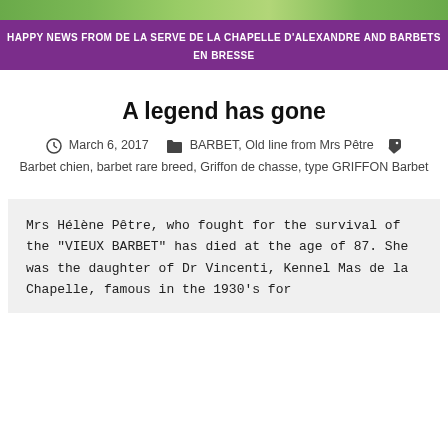[Figure (illustration): Green decorative banner/strip at the top of the page]
HAPPY NEWS FROM DE LA SERVE DE LA CHAPELLE D'ALEXANDRE AND BARBETS EN BRESSE
A legend has gone
March 6, 2017   BARBET, Old line from Mrs Pêtre   Barbet chien, barbet rare breed, Griffon de chasse, type GRIFFON Barbet
Mrs Hélène Pêtre, who fought for the survival of the "VIEUX BARBET" has died at the age of 87. She was the daughter of Dr Vincenti, Kennel Mas de la Chapelle, famous in the 1930's for